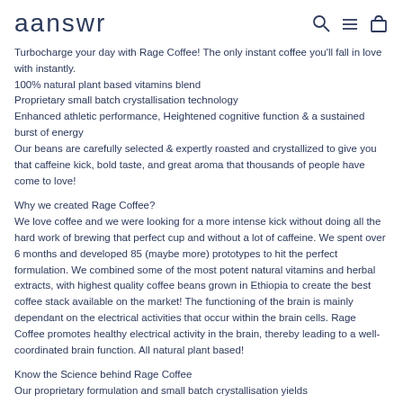aanswr
Turbocharge your day with Rage Coffee! The only instant coffee you'll fall in love with instantly.
100% natural plant based vitamins blend
Proprietary small batch crystallisation technology
Enhanced athletic performance, Heightened cognitive function & a sustained burst of energy
Our beans are carefully selected & expertly roasted and crystallized to give you that caffeine kick, bold taste, and great aroma that thousands of people have come to love!
Why we created Rage Coffee?
We love coffee and we were looking for a more intense kick without doing all the hard work of brewing that perfect cup and without a lot of caffeine. We spent over 6 months and developed 85 (maybe more) prototypes to hit the perfect formulation. We combined some of the most potent natural vitamins and herbal extracts, with highest quality coffee beans grown in Ethiopia to create the best coffee stack available on the market! The functioning of the brain is mainly dependant on the electrical activities that occur within the brain cells. Rage Coffee promotes healthy electrical activity in the brain, thereby leading to a well-coordinated brain function. All natural plant based!
Know the Science behind Rage Coffee
Our proprietary formulation and small batch crystallisation yields